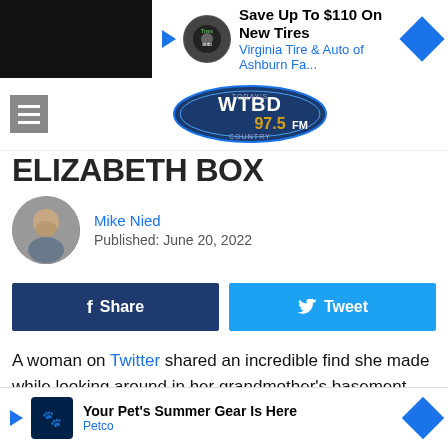[Figure (screenshot): Top advertisement banner: Save Up To $110 On New Tires - Virginia Tire & Auto of Ashburn Fa...]
[Figure (logo): WTBD 97.5 FM radio station logo]
ELIZABETH BOX
Mike Nied
Published: June 20, 2022
[Figure (infographic): Share and Tweet social media buttons]
A woman on Twitter shared an incredible find she made while looking around in her grandmother's basement.

While some people might find important pieces of family history or even a family heirloom tucked away for safekeeping, Emily Galvin-Almanza found a piece of world history [...]rs to have fo[...]b
[Figure (screenshot): Bottom advertisement: Your Pet's Summer Gear Is Here - Petco]